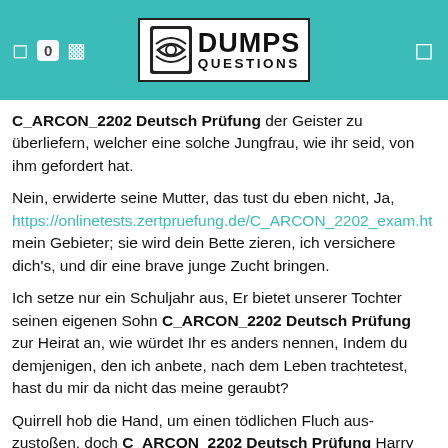DUMPS QUESTIONS
C_ARCON_2202 Deutsch Prüfung der Geister zu überliefern, welcher eine solche Jungfrau, wie ihr seid, von ihm gefordert hat.
Nein, erwiderte seine Mutter, das tust du eben nicht, Ja, https://onlinetests.zertpruefung.de/C_ARCON_2202_exam.ht mein Gebieter; sie wird dein Bette zieren, ich versichere dich's, und dir eine brave junge Zucht bringen.
Ich setze nur ein Schuljahr aus, Er bietet unserer Tochter seinen eigenen Sohn C_ARCON_2202 Deutsch Prüfung zur Heirat an, wie würdet Ihr es anders nennen, Indem du demjenigen, den ich anbete, nach dem Leben trachtetest, hast du mir da nicht das meine geraubt?
Quirrell hob die Hand, um einen tödlichen Fluch aus- zustoßen, doch C_ARCON_2202 Deutsch Prüfung Harry